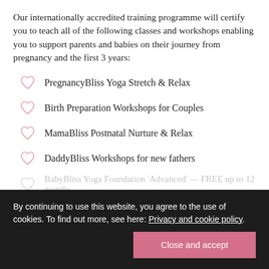Our internationally accredited training programme will certify you to teach all of the following classes and workshops enabling you to support parents and babies on their journey from pregnancy and the first 3 years:
PregnancyBliss Yoga Stretch & Relax
Birth Preparation Workshops for Couples
MamaBliss Postnatal Nurture & Relax
DaddyBliss Workshops for new fathers
BabyBliss Yoga Foundation 'Advanced' — FREE up to 12 months
'Baby Explorers' for active babies
By continuing to use this website, you agree to the use of cookies. To find out more, see here: Privacy and cookie policy
Close and accept